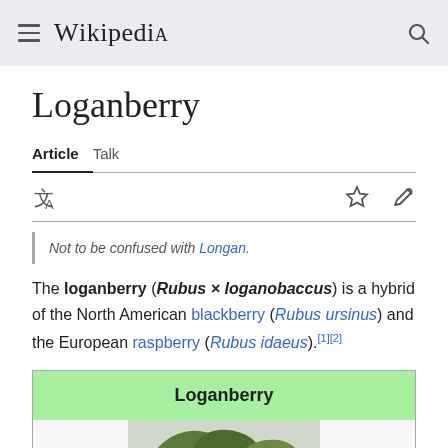Wikipedia
Loganberry
Article  Talk
Not to be confused with Longan.
The loganberry (Rubus × loganobaccus) is a hybrid of the North American blackberry (Rubus ursinus) and the European raspberry (Rubus idaeus).[1][2]
Loganberry
[Figure (photo): Photo of loganberries on leaves]